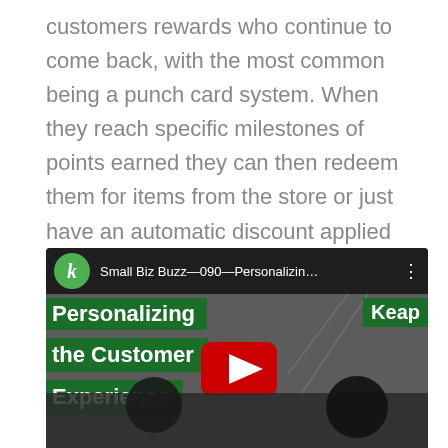customers rewards who continue to come back, with the most common being a punch card system. When they reach specific milestones of points earned they can then redeem them for items from the store or just have an automatic discount applied every time they shop at that particular location.
[Figure (screenshot): YouTube video thumbnail showing 'Small Biz Buzz—090—Personalizin…' with green Keap branding overlays reading 'Personalizing the Customer Experience' and a red YouTube play button. Two people are partially visible at the bottom.]